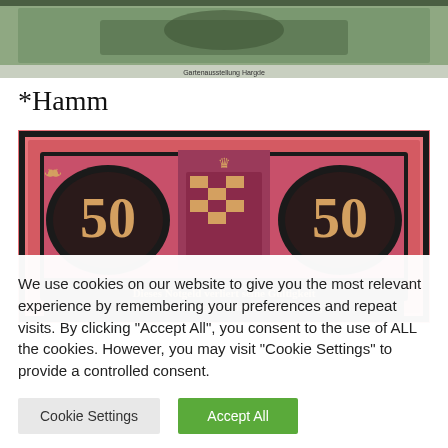[Figure (photo): Top portion of an old banknote or currency note with green engraved design and caption text at bottom reading 'Gartenausstellung Hargde' or similar]
*Hamm
[Figure (photo): Red/pink German Notgeld (emergency currency) banknote for 50 Pfennig from Hamm, featuring decorative border, city coat of arms in center, large '50' numerals on left and right, and text 'Dieses Notgeld verliert seine Gültigkeit 1 Monat nach erfolgter öffentl. Bekanntmachung']
We use cookies on our website to give you the most relevant experience by remembering your preferences and repeat visits. By clicking "Accept All", you consent to the use of ALL the cookies. However, you may visit "Cookie Settings" to provide a controlled consent.
Cookie Settings   Accept All